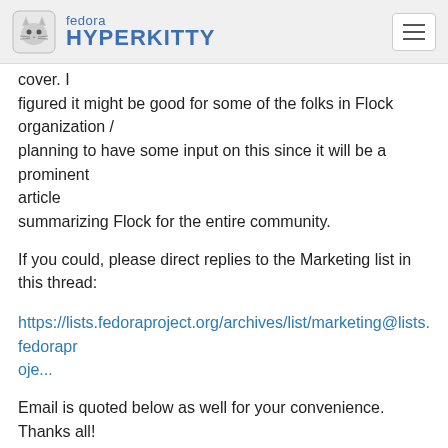fedora HYPERKITTY
cover. I figured it might be good for some of the folks in Flock organization / planning to have some input on this since it will be a prominent article summarizing Flock for the entire community.
If you could, please direct replies to the Marketing list in this thread:
https://lists.fedoraproject.org/archives/list/marketing@lists.fedoraproje...
Email is quoted below as well for your convenience. Thanks all!
--------- Forwarded Message ---------
Subject: [Marketing] Flock summary article for the Magazine
Date: Mon, 15 Aug 2016 12:55:35 -0400 (EDT)
From: Natalie Ardasevova <nardasev(a)redhat.com&gt;
To: Fedora Marketing team
<marketing(a)lists.fedoraproject.org&gt;